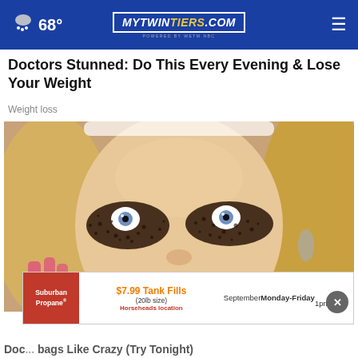68° MYTWINTIERS.COM
Doctors Stunned: Do This Every Evening & Lose Your Weight
Weight loss
[Figure (photo): Woman with dark coffee grounds under her eyes applying something to her face, pink nails, blonde hair, wearing earrings]
[Figure (infographic): Suburban Propane ad: $7.99 Tank Fills (20lb size), Horseheads location, September Monday-Friday 1pm-4pm]
Doctors Stunned: Do This to Get Rid of Eye bags Like Crazy (Try Tonight)